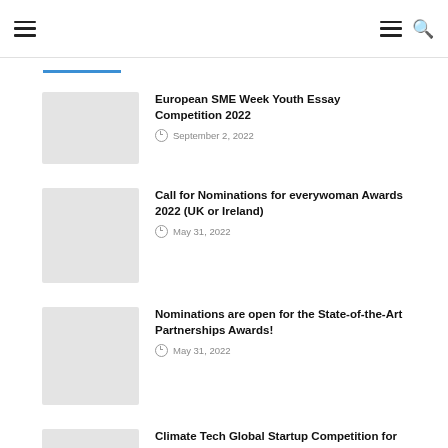Navigation bar with hamburger menu and search icon
European SME Week Youth Essay Competition 2022 — September 2, 2022
Call for Nominations for everywoman Awards 2022 (UK or Ireland) — May 31, 2022
Nominations are open for the State-of-the-Art Partnerships Awards! — May 31, 2022
Climate Tech Global Startup Competition for Early-Stage Startups — May 30, 2022